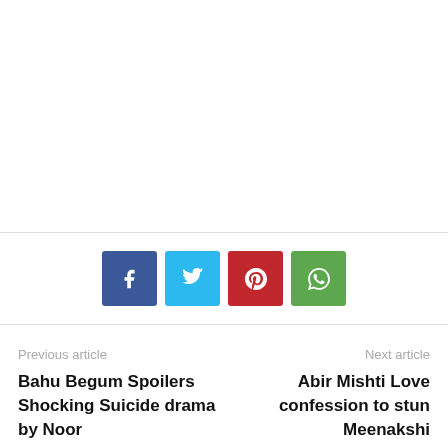[Figure (other): Social sharing buttons: Facebook (blue), Twitter (light blue), Pinterest (red), WhatsApp (green)]
Previous article
Bahu Begum Spoilers Shocking Suicide drama by Noor
Next article
Abir Mishti Love confession to stun Meenakshi